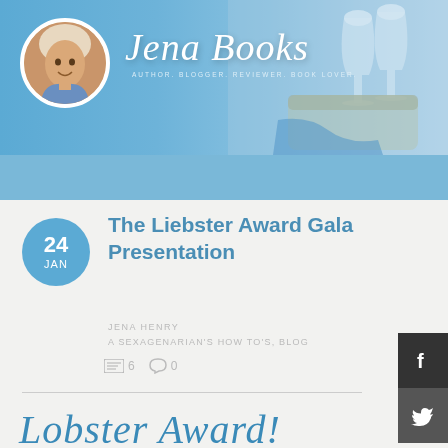[Figure (illustration): Blog header banner with blue tinted background, circular author photo on left, cursive 'Jena Books' logo text, tagline 'AUTHOR. BLOGGER. REVIEWER. BOOK LOVER.', and wine glasses/picnic basket photo on right with light blue stripe below]
The Liebster Award Gala Presentation
JENA HENRY
A SEXAGENARIAN'S HOW TO'S, BLOG
6   0
[Figure (illustration): Cursive script text reading 'Lobster Award!' in blue at bottom of page]
[Figure (illustration): Facebook and Twitter social media buttons on right sidebar]